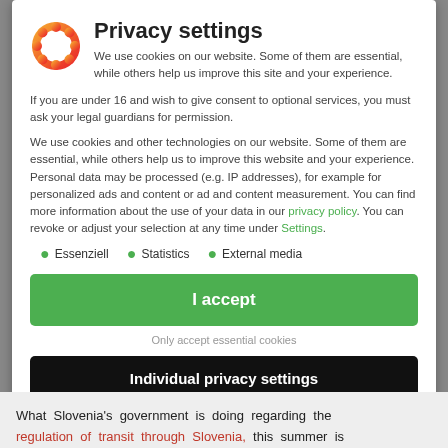Privacy settings
We use cookies on our website. Some of them are essential, while others help us improve this site and your experience.
If you are under 16 and wish to give consent to optional services, you must ask your legal guardians for permission.
We use cookies and other technologies on our website. Some of them are essential, while others help us to improve this website and your experience. Personal data may be processed (e.g. IP addresses), for example for personalized ads and content or ad and content measurement. You can find more information about the use of your data in our privacy policy. You can revoke or adjust your selection at any time under Settings.
Essenziell
Statistics
External media
I accept
Only accept essential cookies
Individual privacy settings
What Slovenia's government is doing regarding the regulation of transit through Slovenia, this summer is